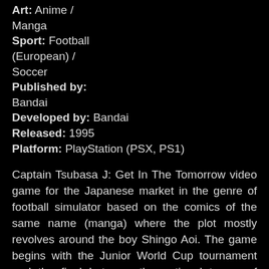Art: Anime / Manga
Sport: Football (European) / Soccer
Published by: Bandai
Developed by: Bandai
Released: 1995
Platform: PlayStation (PSX, PS1)
Captain Tsubasa J: Get In The Tomorrow video game for the Japanese market in the genre of football simulator based on the comics of the same name (manga) where the plot mostly revolves around the boy Shingo Aoi. The game begins with the Junior World Cup tournament and the final between the national teams of Japan and Germany. For Japan, this is a formidable opponent, and besides, every Japanese schoolboy knows that it is almost impossible to score German goalkeeper Dieter Muller. This final for Japan will probably be lost, but no matter how the match ends, your players will get experience points and will certainly score their goals in the future. The maximum attainable level of